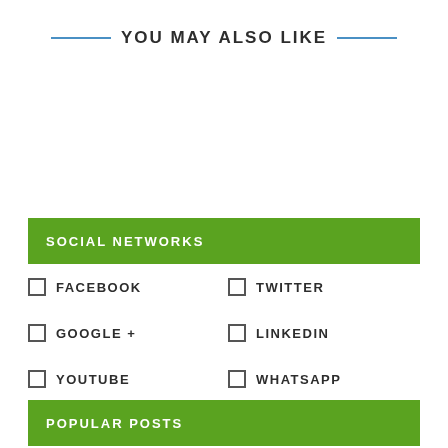YOU MAY ALSO LIKE
SOCIAL NETWORKS
FACEBOOK
TWITTER
GOOGLE +
LINKEDIN
YOUTUBE
WHATSAPP
POPULAR POSTS